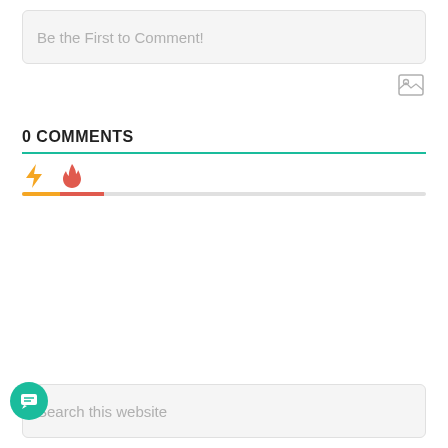Be the First to Comment!
[Figure (other): Image icon button (landscape photo placeholder icon)]
0 COMMENTS
[Figure (other): Lightning bolt icon (orange/yellow) and flame icon (red-orange), tab selectors for comment sorting]
Search this website
[Figure (other): Teal circular chat/message button with chat bubble icon]